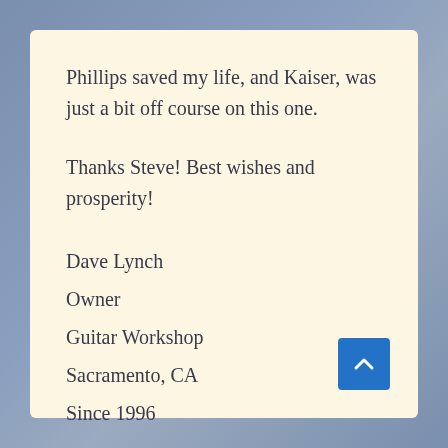Phillips saved my life, and Kaiser, was just a bit off course on this one.
Thanks Steve! Best wishes and prosperity!
Dave Lynch
Owner
Guitar Workshop
Sacramento, CA
Since 1996
[Figure (other): Blue square button with upward-pointing chevron arrow (back to top button)]